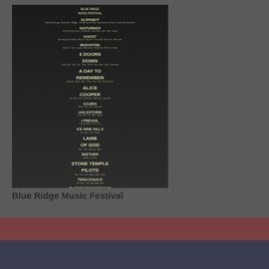[Figure (illustration): Blue Ridge Rock Festival concert poster on dark background, listing bands including Slipknot, Disturbed, Ghost, Mudvayne, 3 Doors Down, A Day to Remember, Alice Cooper, Gojira, Halestorm, I Prevail, Ice Nine Kills, Lamb of God, Seether, Stone Temple Pilots, Tenacious D, with website blueridgerockfest.com]
Blue Ridge Music Festival
Copyright Rock At Night 2022